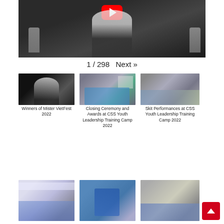[Figure (screenshot): YouTube video thumbnail showing a person with long dark hair waving, with trophies visible in the background and a YouTube play button overlay]
1 / 298   Next »
[Figure (photo): Thumbnail: person smiling and waving in dark setting]
Winners of Mister VietFest 2022
[Figure (photo): Thumbnail: group of children in blue shirts on a stage with a screen behind]
Closing Ceremony and Awards at CSS Youth Leadership Training Camp 2022
[Figure (photo): Thumbnail: children sitting on floor in a room]
Skit Performances at CSS Youth Leadership Training Camp 2022
[Figure (photo): Thumbnail: room full of youth seated at tables]
[Figure (photo): Thumbnail: person in blue shirt gesturing]
[Figure (photo): Thumbnail: large group of youth in a hall]